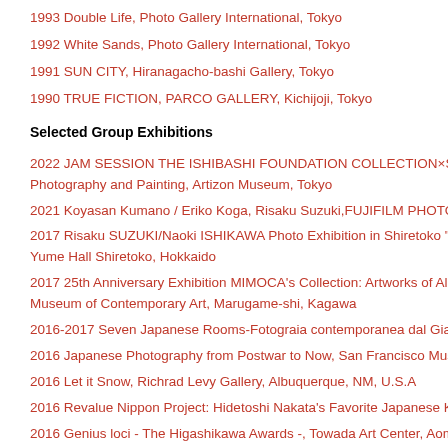1993 Double Life, Photo Gallery International, Tokyo
1992 White Sands, Photo Gallery International, Tokyo
1991 SUN CITY, Hiranagacho-bashi Gallery, Tokyo
1990 TRUE FICTION, PARCO GALLERY, Kichijoji, Tokyo
Selected Group Exhibitions
2022 JAM SESSION THE ISHIBASHI FOUNDATION COLLECTIONxSHIBATA Photography and Painting, Artizon Museum, Tokyo
2021 Koyasan Kumano / Eriko Koga, Risaku Suzuki,FUJIFILM PHOTO SALON
2017 Risaku SUZUKI/Naoki ISHIKAWA Photo Exhibition in Shiretoko "TOP END" Yume Hall Shiretoko, Hokkaido
2017 25th Anniversary Exhibition MIMOCA's Collection: Artworks of All Kinds!, Museum of Contemporary Art, Marugame-shi, Kagawa
2016-2017 Seven Japanese Rooms-Fotograia contemporanea dal Giappone, R
2016 Japanese Photography from Postwar to Now, San Francisco Museum of M
2016 Let it Snow, Richrad Levy Gallery, Albuquerque, NM, U.S.A
2016 Revalue Nippon Project: Hidetoshi Nakata's Favorite Japanese KOGEI, P
2016 Genius loci - The Higashikawa Awards -, Towada Art Center, Aomori